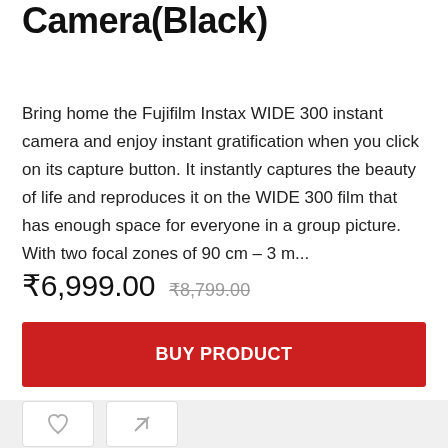Camera(Black)
Bring home the Fujifilm Instax WIDE 300 instant camera and enjoy instant gratification when you click on its capture button. It instantly captures the beauty of life and reproduces it on the WIDE 300 film that has enough space for everyone in a group picture. With two focal zones of 90 cm – 3 m...
₹6,999.00 ₹8,799.00
BUY PRODUCT